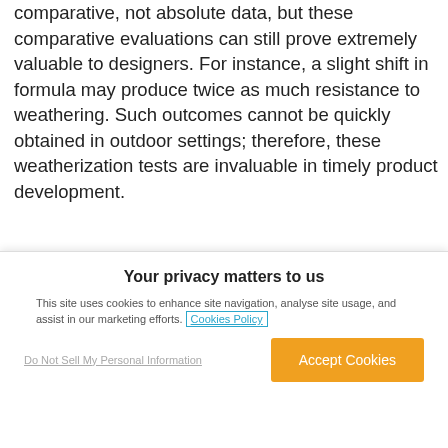comparative, not absolute data, but these comparative evaluations can still prove extremely valuable to designers. For instance, a slight shift in formula may produce twice as much resistance to weathering. Such outcomes cannot be quickly obtained in outdoor settings; therefore, these weatherization tests are invaluable in timely product development.
Recreate specialized conditions with filters. In xenon arc testing, different optical filters may be applied to shift testing conditions for daylight, window glass, or
Your privacy matters to us
This site uses cookies to enhance site navigation, analyse site usage, and assist in our marketing efforts. Cookies Policy
Do Not Sell My Personal Information
Accept Cookies